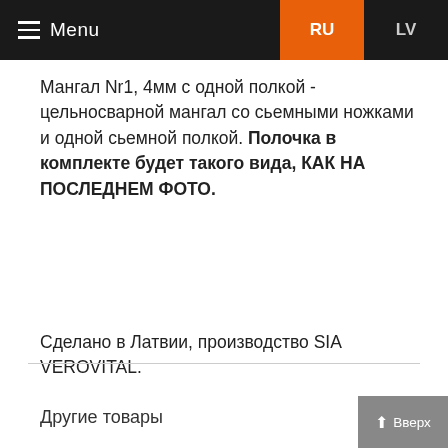Menu   RU   LV
Мангал Nr1, 4мм с одной полкой - цельносварной мангал со сьемными ножками и одной сьемной полкой. Полочка в комплекте будет такого вида, КАК НА ПОСЛЕДНЕМ ФОТО.
Сделано в Латвии, производство SIA VEROVITAL.
Другие товары
Вверх